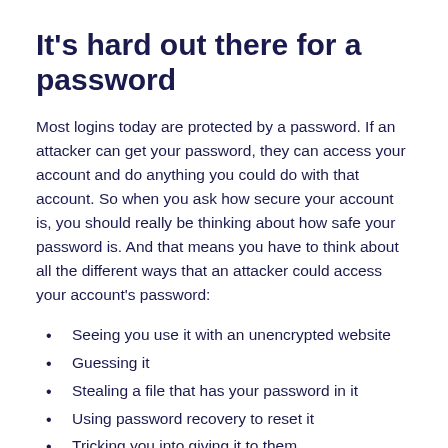It’s hard out there for a password
Most logins today are protected by a password. If an attacker can get your password, they can access your account and do anything you could do with that account. So when you ask how secure your account is, you should really be thinking about how safe your password is. And that means you have to think about all the different ways that an attacker could access your account’s password:
Seeing you use it with an unencrypted website
Guessing it
Stealing a file that has your password in it
Using password recovery to reset it
Tricking you into giving it to them